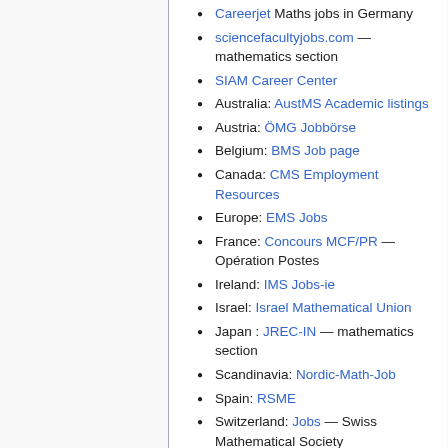Careerjet Maths jobs in Germany
sciencefacultyjobs.com — mathematics section
SIAM Career Center
Australia: AustMS Academic listings
Austria: ÖMG Jobbörse
Belgium: BMS Job page
Canada: CMS Employment Resources
Europe: EMS Jobs
France: Concours MCF/PR — Opération Postes
Ireland: IMS Jobs-ie
Israel: Israel Mathematical Union
Japan : JREC-IN — mathematics section
Scandinavia: Nordic-Math-Job
Spain: RSME
Switzerland: Jobs — Swiss Mathematical Society
UK: jobs.ac.uk — mathematics and statistics section
Other disciplines